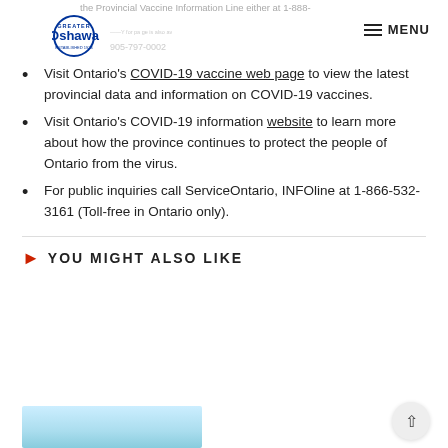Greater Oshawa — MENU
Visit Ontario's COVID-19 vaccine web page to view the latest provincial data and information on COVID-19 vaccines.
Visit Ontario's COVID-19 information website to learn more about how the province continues to protect the people of Ontario from the virus.
For public inquiries call ServiceOntario, INFOline at 1-866-532-3161 (Toll-free in Ontario only).
YOU MIGHT ALSO LIKE
[Figure (photo): Partial view of a light blue landscape/sky image strip at the bottom of the page]